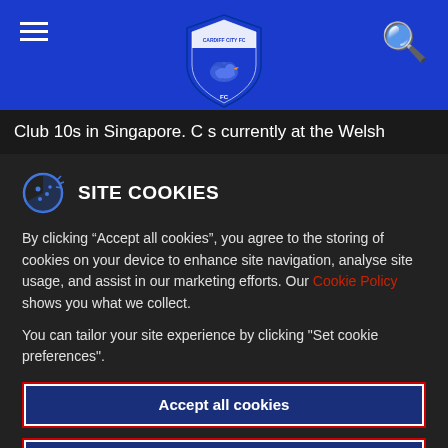[Figure (logo): Cardiff City FC crest/shield logo centered in blue navigation bar]
Club 10s in Singapore. C...s currently at the Welsh
SITE COOKIES
By clicking “Accept all cookies”, you agree to the storing of cookies on your device to enhance site navigation, analyse site usage, and assist in our marketing efforts. Our Cookie Policy shows you what we collect.
You can tailor your site experience by clicking "Set cookie preferences".
Accept all cookies
Set Cookie Preferences